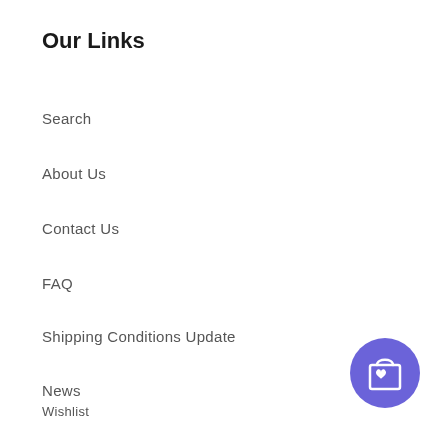Our Links
Search
About Us
Contact Us
FAQ
Shipping Conditions Update
News
Wishlist
Terms of Service
Refund policy
[Figure (illustration): Purple circular button with a shopping bag and heart icon]